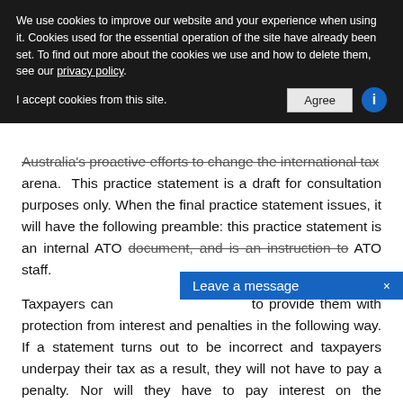We use cookies to improve our website and your experience when using it. Cookies used for the essential operation of the site have already been set. To find out more about the cookies we use and how to delete them, see our privacy policy.
I accept cookies from this site.   [Agree]
Australia's proactive efforts to change the international tax arena. This practice statement is a draft for consultation purposes only. When the final practice statement issues, it will have the following preamble: this practice statement is an internal ATO document, and is an instruction to ATO staff.
Leave a message ×
Taxpayers can [obscured] to provide them with protection from interest and penalties in the following way. If a statement turns out to be incorrect and taxpayers underpay their tax as a result, they will not have to pay a penalty. Nor will they have to pay interest on the underpayment provided they reasonably relied on this practice statement in good faith. However, even if they don't have to pay a penalty or interest, taxpayers will have to pay the correct amount of tax provided the time limits under the law allow it.